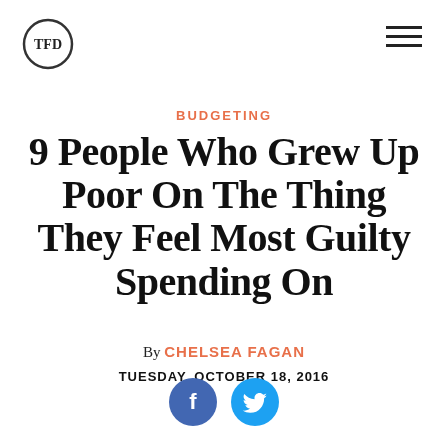[Figure (logo): TFD circular logo with 'TFD' text inside a circle]
[Figure (other): Hamburger menu icon (three horizontal lines)]
BUDGETING
9 People Who Grew Up Poor On The Thing They Feel Most Guilty Spending On
By CHELSEA FAGAN
TUESDAY, OCTOBER 18, 2016
[Figure (other): Facebook and Twitter social share icon buttons]